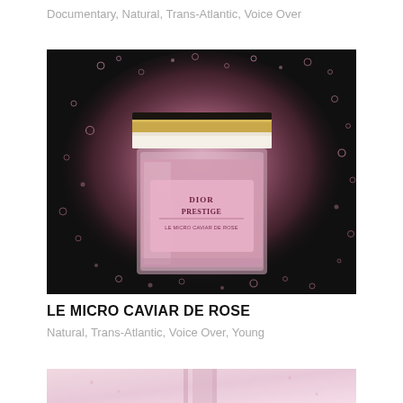Documentary, Natural, Trans-Atlantic, Voice Over
[Figure (photo): Dior Prestige Le Micro Caviar de Rose cream jar surrounded by pink sparkling particles on a dark background]
LE MICRO CAVIAR DE ROSE
Natural, Trans-Atlantic, Voice Over, Young
[Figure (photo): Partial view of a Dior Prestige product on a light pink background, cropped at bottom of page]